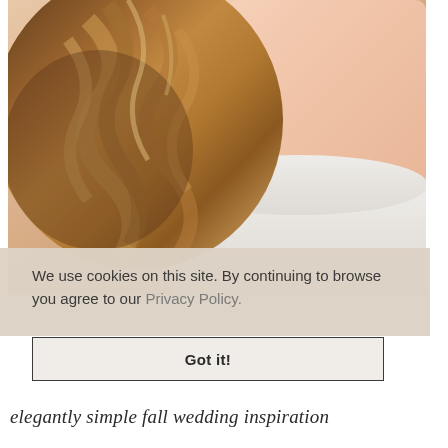[Figure (photo): Close-up photo of a woman's hair styled in loose curls/waves from behind, showing wavy honey-brown balayage hair over a white dress strap, with fair skin visible on shoulder and neck]
We use cookies on this site. By continuing to browse you agree to our Privacy Policy.
Got it!
elegantly simple fall wedding inspiration